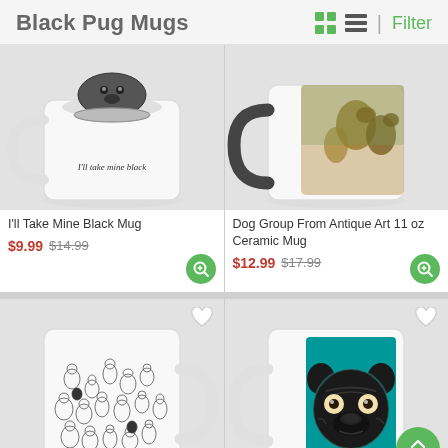Black Pug Mugs
[Figure (photo): White mug with a black pug sitting inside a bowl, text 'I'll take mine black' on front]
I'll Take Mine Black Mug
$9.99  $14.99
[Figure (photo): Black-handled color-changing mug with antique art depicting dogs in a group]
Dog Group From Antique Art 11 oz Ceramic Mug
$12.99  $17.99
[Figure (photo): White mug with many outlined dog illustrations covering the body]
[Figure (photo): White mug with teal panel featuring a cartoon black pug face]